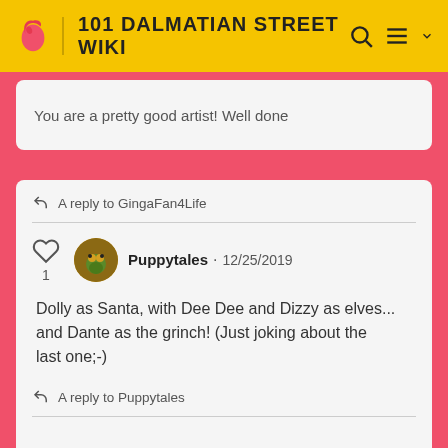101 DALMATIAN STREET WIKI
You are a pretty good artist! Well done
A reply to GingaFan4Life
Puppytales · 12/25/2019
Dolly as Santa, with Dee Dee and Dizzy as elves... and Dante as the grinch! (Just joking about the last one;-)
A reply to Puppytales